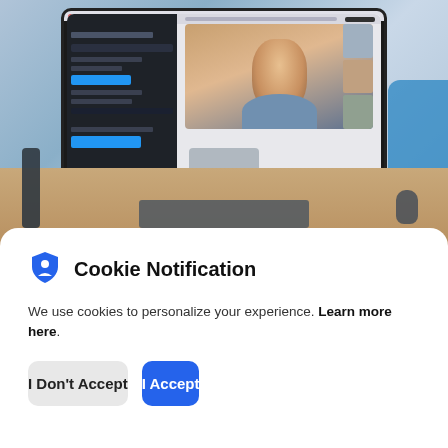[Figure (screenshot): A computer monitor on a desk showing a video conferencing application with a person smiling on screen. A keyboard, mouse, speaker, and other peripherals visible on the desk. Blue chair visible on right side.]
Cookie Notification
We use cookies to personalize your experience. Learn more here.
I Don't Accept
I Accept